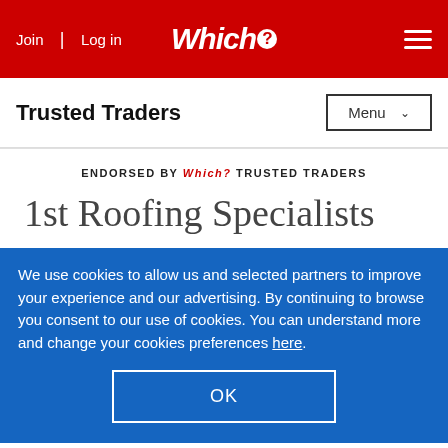Join | Log in  Which? Trusted Traders
Trusted Traders
ENDORSED BY Which? TRUSTED TRADERS
1st Roofing Specialists
We use cookies to allow us and selected partners to improve your experience and our advertising. By continuing to browse you consent to our use of cookies. You can understand more and change your cookies preferences here.
OK